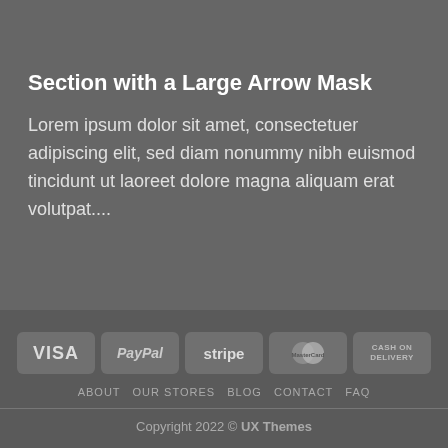[Figure (illustration): Dark gray downward-pointing arrow/chevron shape at top center of page, acting as a section divider mask]
Section with a Large Arrow Mask
Lorem ipsum dolor sit amet, consectetuer adipiscing elit, sed diam nonummy nibh euismod tincidunt ut laoreet dolore magna aliquam erat volutpat....
[Figure (logo): Payment method badges: VISA, PayPal, stripe, MasterCard, Cash on Delivery]
ABOUT  OUR STORES  BLOG  CONTACT  FAQ
Copyright 2022 © UX Themes